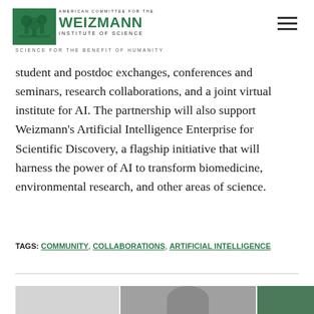AMERICAN COMMITTEE FOR THE WEIZMANN INSTITUTE OF SCIENCE — SCIENCE FOR THE BENEFIT OF HUMANITY
student and postdoc exchanges, conferences and seminars, research collaborations, and a joint virtual institute for AI. The partnership will also support Weizmann's Artificial Intelligence Enterprise for Scientific Discovery, a flagship initiative that will harness the power of AI to transform biomedicine, environmental research, and other areas of science.
TAGS: COMMUNITY, COLLABORATIONS, ARTIFICIAL INTELLIGENCE
[Figure (photo): Photo strip showing people, partially visible at bottom of page]